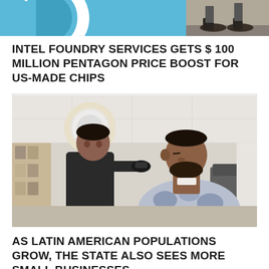[Figure (photo): Top banner image split in two: left side shows a blue background with circular logo (partial), right side shows legs/feet walking on a surface]
INTEL FOUNDRY SERVICES GETS $ 100 MILLION PENTAGON PRICE BOOST FOR US-MADE CHIPS
[Figure (photo): A barber wearing black gloves and dark uniform cuts the hair of a seated customer draped in a patterned gray and white cape in a barbershop interior]
AS LATIN AMERICAN POPULATIONS GROW, THE STATE ALSO SEES MORE SMALL BUSINESSES